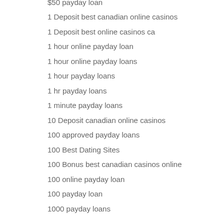$50 payday loan
1 Deposit best canadian online casinos
1 Deposit best online casinos ca
1 hour online payday loan
1 hour online payday loans
1 hour payday loans
1 hr payday loans
1 minute payday loans
10 Deposit canadian online casinos
100 approved payday loans
100 Best Dating Sites
100 Bonus best canadian casinos online
100 online payday loan
100 payday loan
1000 payday loans